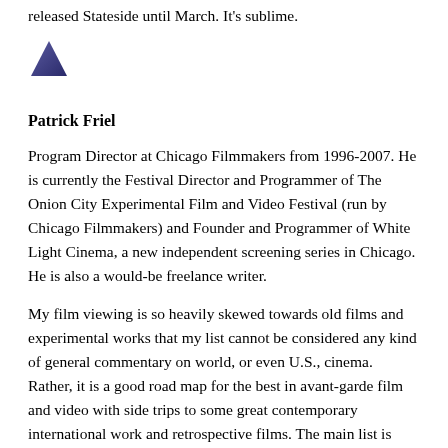released Stateside until March. It's sublime.
[Figure (illustration): A small dark blue/purple triangle icon]
Patrick Friel
Program Director at Chicago Filmmakers from 1996-2007. He is currently the Festival Director and Programmer of The Onion City Experimental Film and Video Festival (run by Chicago Filmmakers) and Founder and Programmer of White Light Cinema, a new independent screening series in Chicago. He is also a would-be freelance writer.
My film viewing is so heavily skewed towards old films and experimental works that my list cannot be considered any kind of general commentary on world, or even U.S., cinema. Rather, it is a good road map for the best in avant-garde film and video with side trips to some great contemporary international work and retrospective films. The main list is followed by some additional experimental items. All works were seen for the first